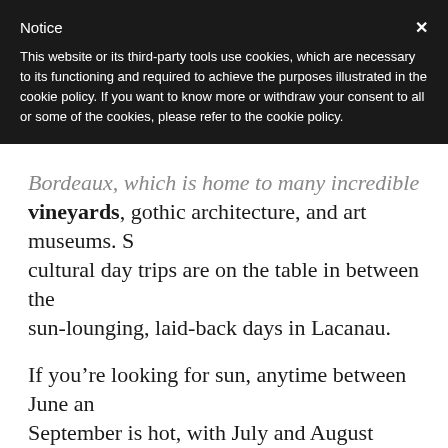Notice
This website or its third-party tools use cookies, which are necessary to its functioning and required to achieve the purposes illustrated in the cookie policy. If you want to know more or withdraw your consent to all or some of the cookies, please refer to the cookie policy.
Bordeaux, which is home to many incredible vineyards, gothic architecture, and art museums. So cultural day trips are on the table in between the sun-lounging, laid-back days in Lacanau.
If you’re looking for sun, anytime between June and September is hot, with July and August being the peak – receiving around 10 hours of sunlight a day at around 21.2°C.
Things to do